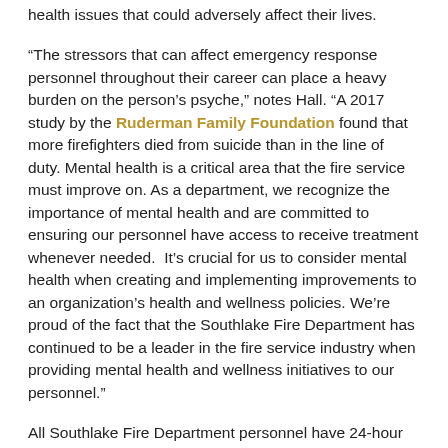health issues that could adversely affect their lives.
“The stressors that can affect emergency response personnel throughout their career can place a heavy burden on the person’s psyche,” notes Hall. “A 2017 study by the Ruderman Family Foundation found that more firefighters died from suicide than in the line of duty. Mental health is a critical area that the fire service must improve on. As a department, we recognize the importance of mental health and are committed to ensuring our personnel have access to receive treatment whenever needed. It’s crucial for us to consider mental health when creating and implementing improvements to an organization’s health and wellness policies. We’re proud of the fact that the Southlake Fire Department has continued to be a leader in the fire service industry when providing mental health and wellness initiatives to our personnel.”
All Southlake Fire Department personnel have 24-hour